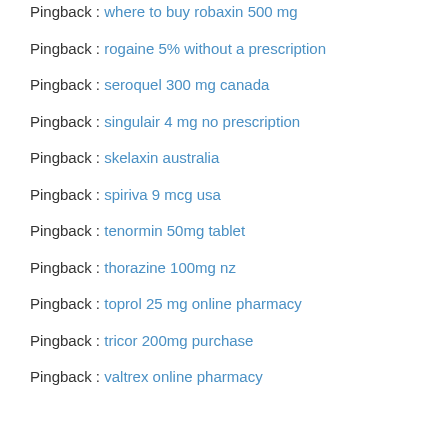Pingback : where to buy robaxin 500 mg
Pingback : rogaine 5% without a prescription
Pingback : seroquel 300 mg canada
Pingback : singulair 4 mg no prescription
Pingback : skelaxin australia
Pingback : spiriva 9 mcg usa
Pingback : tenormin 50mg tablet
Pingback : thorazine 100mg nz
Pingback : toprol 25 mg online pharmacy
Pingback : tricor 200mg purchase
Pingback : valtrex online pharmacy